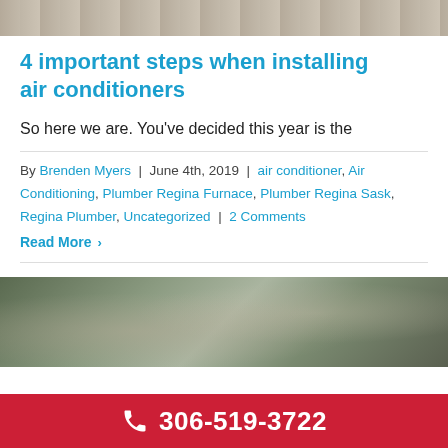[Figure (photo): Top banner photo showing sandy/stone textured surface, cropped at top of page]
4 important steps when installing air conditioners
So here we are. You’ve decided this year is the
By Brenden Myers | June 4th, 2019 | air conditioner, Air Conditioning, Plumber Regina Furnace, Plumber Regina Sask, Regina Plumber, Uncategorized | 2 Comments
Read More >
[Figure (photo): Photo of HVAC/air conditioning equipment and components, partially visible at bottom of page]
306-519-3722